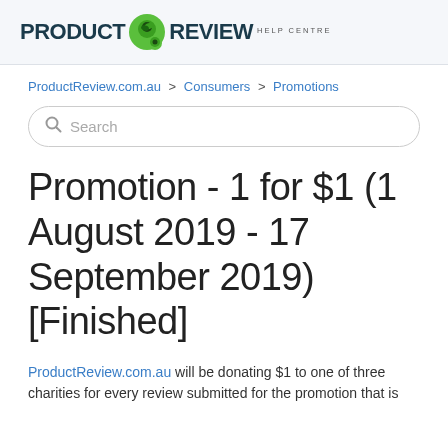PRODUCT REVIEW HELP CENTRE
ProductReview.com.au > Consumers > Promotions
Search
Promotion - 1 for $1 (1 August 2019 - 17 September 2019) [Finished]
ProductReview.com.au will be donating $1 to one of three charities for every review submitted for the promotion that is...